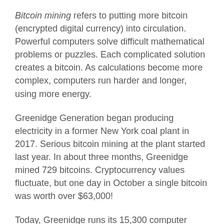Bitcoin mining refers to putting more bitcoin (encrypted digital currency) into circulation. Powerful computers solve difficult mathematical problems or puzzles. Each complicated solution creates a bitcoin. As calculations become more complex, computers run harder and longer, using more energy.
Greenidge Generation began producing electricity in a former New York coal plant in 2017. Serious bitcoin mining at the plant started last year. In about three months, Greenidge mined 729 bitcoins. Cryptocurrency values fluctuate, but one day in October a single bitcoin was worth over $63,000!
Today, Greenidge runs its 15,300 computer servers and still sends electricity into the state's power grid.
But environmentalists see Greenidge as creating pollution problems. They oppose the plant's water use from a nearby lake. Air quality around the plant is also a concern.